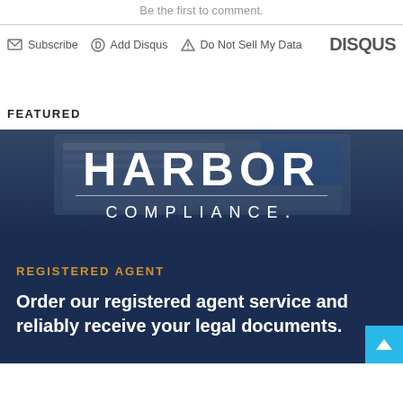Be the first to comment.
Subscribe  Add Disqus  Do Not Sell My Data  DISQUS
FEATURED
[Figure (illustration): Harbor Compliance advertisement banner with dark blue background. Shows 'HARBOR COMPLIANCE.' logo in white text, orange 'REGISTERED AGENT' subtitle, and white body text reading 'Order our registered agent service and reliably receive your legal documents.']